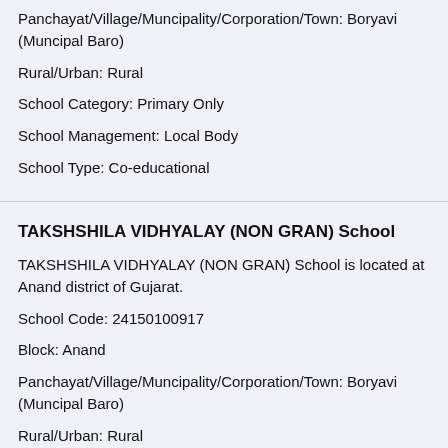Panchayat/Village/Muncipality/Corporation/Town: Boryavi (Muncipal Baro)
Rural/Urban: Rural
School Category: Primary Only
School Management: Local Body
School Type: Co-educational
TAKSHSHILA VIDHYALAY (NON GRAN) School
TAKSHSHILA VIDHYALAY (NON GRAN) School is located at Anand district of Gujarat.
School Code: 24150100917
Block: Anand
Panchayat/Village/Muncipality/Corporation/Town: Boryavi (Muncipal Baro)
Rural/Urban: Rural